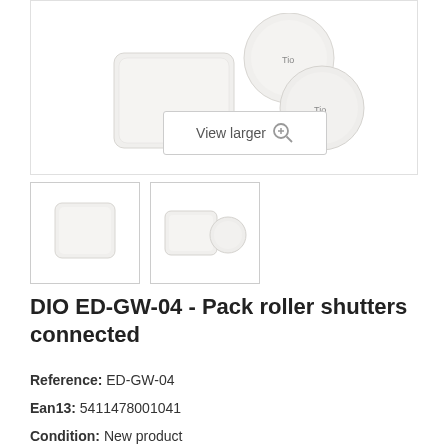[Figure (photo): Product photo of DIO ED-GW-04 smart home gateway and sensor devices on white background]
[Figure (photo): Thumbnail 1: single flat white square gateway device]
[Figure (photo): Thumbnail 2: white gateway device with round white sensor]
DIO ED-GW-04 - Pack roller shutters connected
Reference: ED-GW-04
Ean13: 5411478001041
Condition: New product